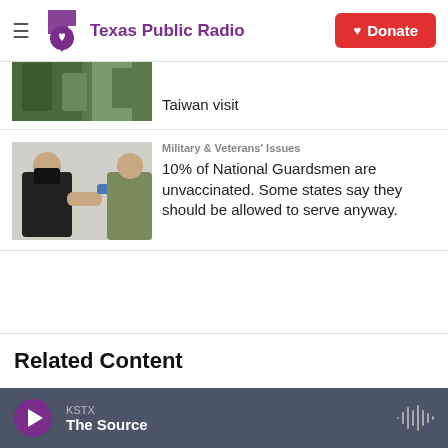Texas Public Radio
Taiwan visit
10% of National Guardsmen are unvaccinated. Some states say they should be allowed to serve anyway.
Related Content
KSTX The Source